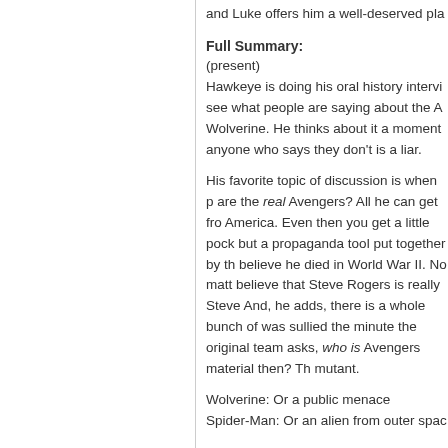and Luke offers him a well-deserved pla...
Full Summary:
(present)
Hawkeye is doing his oral history intervi... see what people are saying about the A... Wolverine. He thinks about it a moment... anyone who says they don't is a liar.
His favorite topic of discussion is when p... are the real Avengers? All he can get fro... America. Even then you get a little pock... but a propaganda tool put together by th... believe he died in World War II. No matt... believe that Steve Rogers is really Steve... And, he adds, there is a whole bunch of... was sullied the minute the original team... asks, who is Avengers material then? Th... mutant.
Wolverine: Or a public menace
Spider-Man: Or an alien from outer spac...